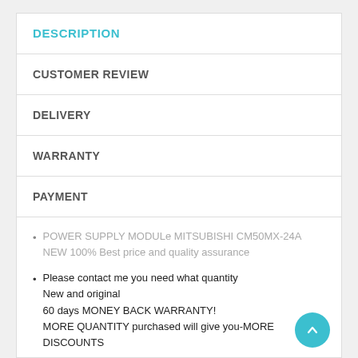DESCRIPTION
CUSTOMER REVIEW
DELIVERY
WARRANTY
PAYMENT
POWER SUPPLY MODULe MITSUBISHI CM50MX-24A NEW 100% Best price and quality assurance
Please contact me you need what quantity
New and original
60 days MONEY BACK WARRANTY!
MORE QUANTITY purchased will give you-MORE DISCOUNTS